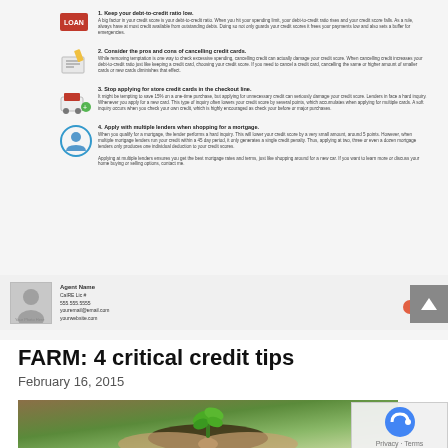[Figure (infographic): Infographic preview showing 4 credit tips with icons and text, plus an agent contact bar at the bottom]
FARM: 4 critical credit tips
February 16, 2015
[Figure (photo): Two hands cupping a small green plant growing from dark soil]